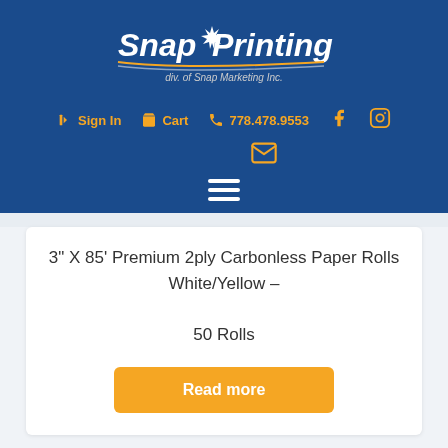[Figure (logo): Snap Printing logo - white italic text on blue background with star burst, subtitle 'div. of Snap Marketing Inc.']
Sign In  Cart  778.478.9553
3" X 85' Premium 2ply Carbonless Paper Rolls White/Yellow – 50 Rolls
Read more